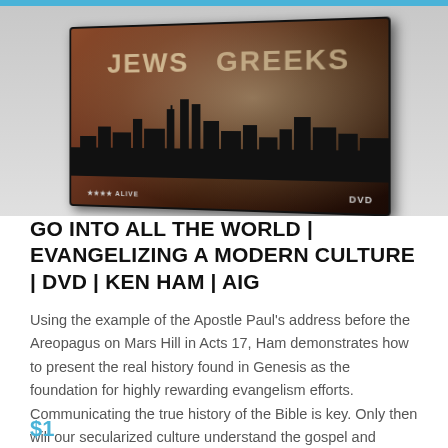[Figure (photo): DVD product box for 'Go Into All The World | Evangelizing a Modern Culture' by Ken Ham / AIG. The box shows a cityscape silhouette against a world map backdrop with the words JEWS and GREEKS overlaid. DVD badge visible in bottom right corner.]
GO INTO ALL THE WORLD | EVANGELIZING A MODERN CULTURE | DVD | KEN HAM | AIG
Using the example of the Apostle Paul's address before the Areopagus on Mars Hill in Acts 17, Ham demonstrates how to present the real history found in Genesis as the foundation for highly rewarding evangelism efforts. Communicating the true history of the Bible is key. Only then will our secularized culture understand the gospel and recognize the depth of their need for the Savior.